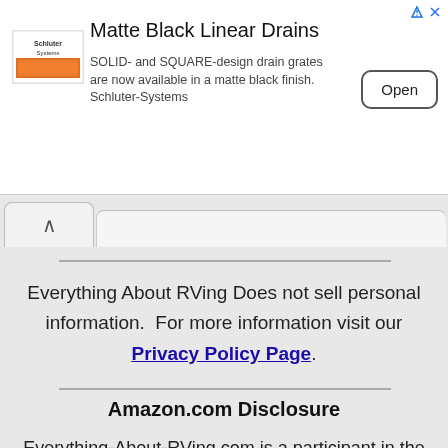[Figure (other): Advertisement banner for Schluter Systems Matte Black Linear Drains. Shows Schluter Systems logo on left, ad title 'Matte Black Linear Drains', body text 'SOLID- and SQUARE-design drain grates are now available in a matte black finish. Schluter-Systems', and an 'Open' button on the right.]
Everything About RVing Does not sell personal information.  For more information visit our Privacy Policy Page.
Amazon.com Disclosure
Everything-About-RVing.com is a participant in the Amazon Services LLC Associates Program,